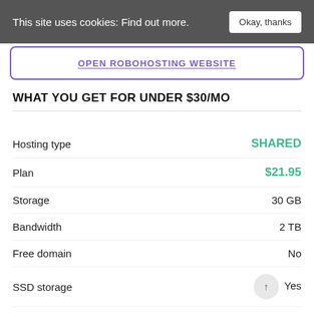This site uses cookies: Find out more. Okay, thanks
OPEN ROBOHOSTING WEBSITE
WHAT YOU GET FOR UNDER $30/MO
|  |  |
| --- | --- |
| Hosting type | SHARED |
| Plan | $21.95 |
| Storage | 30 GB |
| Bandwidth | 2 TB |
| Free domain | No |
| SSD storage | Yes |
| SSL certificate | Yes |
| Email accounts | Unlimited |